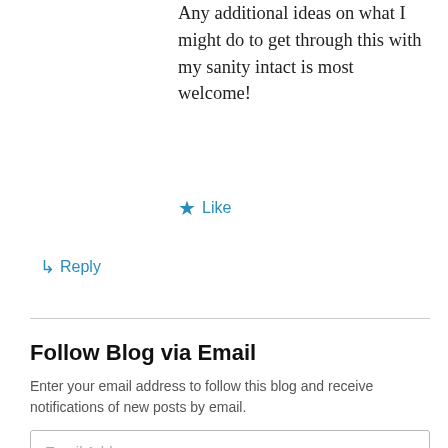Any additional ideas on what I might do to get through this with my sanity intact is most welcome!
★ Like
↳ Reply
Follow Blog via Email
Enter your email address to follow this blog and receive notifications of new posts by email.
Email Address
Follow
Join 207 other followers